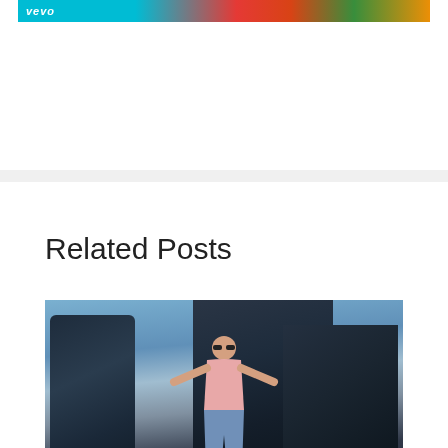[Figure (screenshot): Vevo banner thumbnail with teal background and floral imagery at top of page]
Related Posts
[Figure (photo): Music video still from Vevo showing a man in pink shirt standing with arms spread wide between tall city buildings, viewed from low angle. Vevo watermark in lower left.]
BEH BEH LYRICS – Tekno | Masterkraft